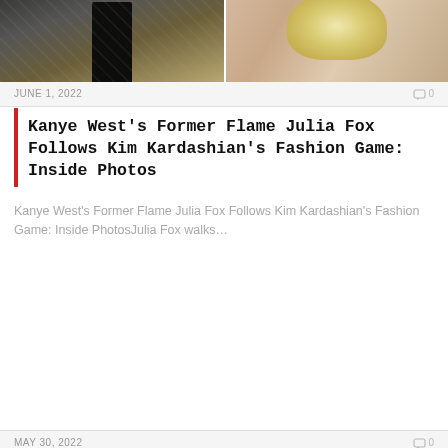[Figure (photo): Two side-by-side photos: left shows a person in black outfit against a decorative background, right shows a close-up of a blonde woman]
JUNE 1, 2022   0
Kanye West's Former Flame Julia Fox Follows Kim Kardashian's Fashion Game: Inside Photos
Kanye West's Former Flame Julia Fox Follows Kim Kardashian's Fashion Game: Inside PhotosJulia Fox walks…
[Figure (photo): Group of people on a red carpet at what appears to be the Cannes Film Festival, wearing various fashionable outfits including floral suits and velvet]
MAY 30, 2022   0